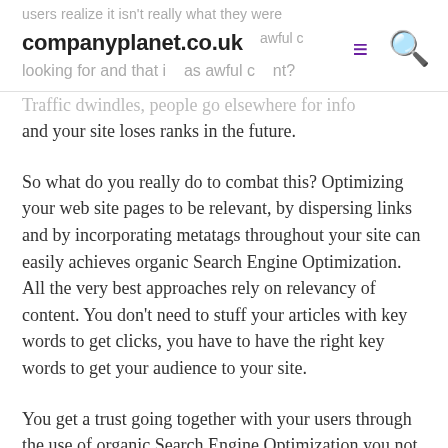companyplanet.co.uk
users realize it isn't really what they were looking for and that it was awful content? Traffic dwindles, people go elsewhere for info and your site loses ranks in the future.
So what do you really do to combat this? Optimizing your web site pages to be relevant, by dispersing links and by incorporating metatags throughout your site can easily achieves organic Search Engine Optimization. All the very best approaches rely on relevancy of content. You don't need to stuff your articles with key words to get clicks, you have to have the right key words to get your audience to your site.
You get a trust going together with your users through the use of organic Search Engine Optimization you not only generate more clicks but the results last longer as with a long